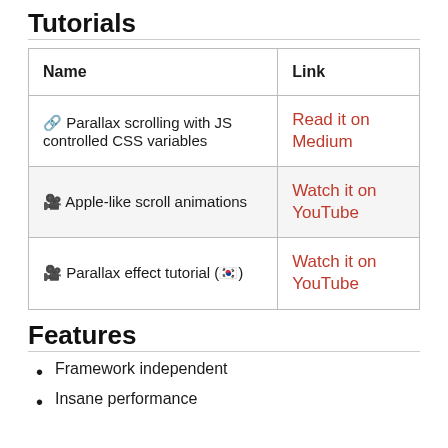Tutorials
| Name | Link |
| --- | --- |
| 🔗 Parallax scrolling with JS controlled CSS variables | Read it on Medium |
| 🎥 Apple-like scroll animations | Watch it on YouTube |
| 🎥 Parallax effect tutorial (🇰🇷) | Watch it on YouTube |
Features
Framework independent
Insane performance